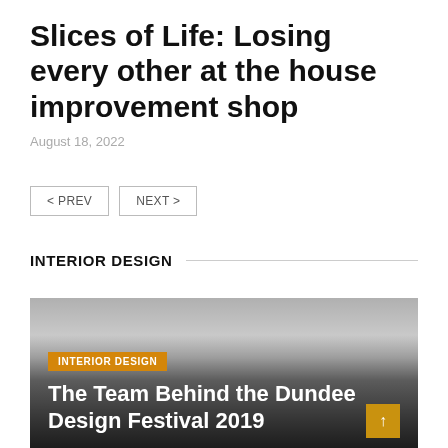Slices of Life: Losing every other at the house improvement shop
August 18, 2022
< PREV   NEXT >
INTERIOR DESIGN
[Figure (photo): Dark gradient card image for an interior design article featuring a category tag and article title overlay]
The Team Behind the Dundee Design Festival 2019